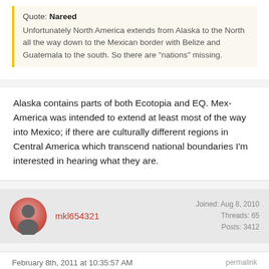Quote: Nareed
Unfortunately North America extends from Alaska to the North all the way down to the Mexican border with Belize and Guatemala to the south. So there are "nations" missing.
Alaska contains parts of both Ecotopia and EQ. Mex-America was intended to extend at least most of the way into Mexico; if there are culturally different regions in Central America which transcend national boundaries I'm interested in hearing what they are.
mkl654321
Joined: Aug 8, 2010
Threads: 65
Posts: 3412
February 8th, 2011 at 10:35:57 AM
permalink
Quote: Nareed
Unfortunately North America extends from Alaska to the North